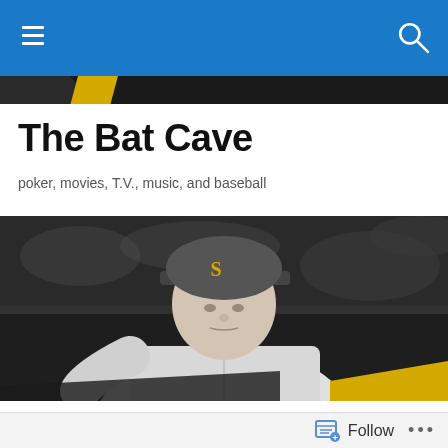The Bat Cave — navigation bar
The Bat Cave
poker, movies, T.V., music, and baseball
[Figure (photo): Black and white photo of a young man wearing a Seattle Mariners baseball cap and jersey, seated at what appears to be a table, looking downward.]
TAGGED WITH TYREKE EVANS
Gunnin' For That #1 Spot
Follow